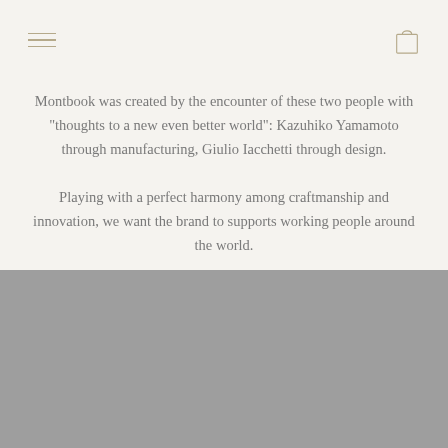Montbook was created by the encounter of these two people with “thoughts to a new even better world”: Kazuhiko Yamamoto through manufacturing, Giulio Iacchetti through design.
Playing with a perfect harmony among craftmanship and innovation, we want the brand to supports working people around the world.
[Figure (other): Gray background section at the bottom of the page]